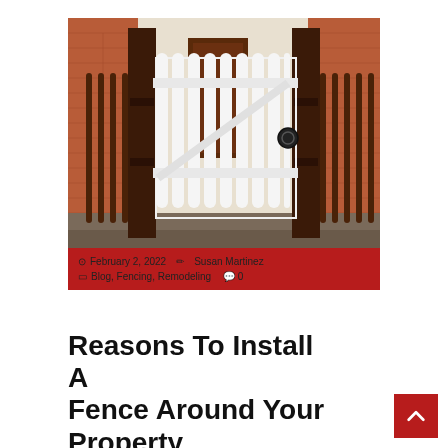[Figure (photo): White picket fence gate with dark brown/maroon wooden posts in front of a red brick building. The gate is open at an angle and has a black ring door handle.]
February 2, 2022  Susan Martinez  Blog, Fencing, Remodeling  0
Reasons To Install A Fence Around Your Property